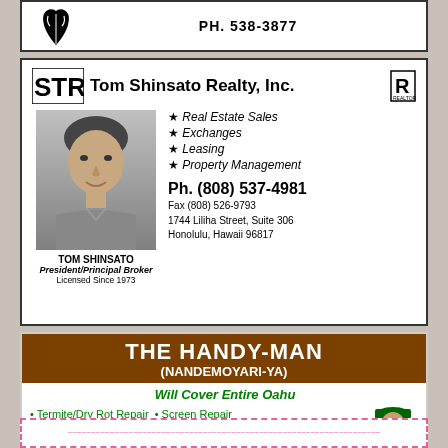[Figure (logo): Top ad with logo and phone number PH. 538-3877]
PH. 538-3877
[Figure (logo): Tom Shinsato Realty, Inc. logo with STR monogram and Realtor R logo]
Tom Shinsato Realty, Inc.
[Figure (photo): Headshot photo of Tom Shinsato]
TOM SHINSATO
President/Principal Broker
Licensed Since 1973
Real Estate Sales
Exchanges
Leasing
Property Management
Ph. (808) 537-4981
Fax (808) 526-9793
1744 Liliha Street, Suite 306
Honolulu, Hawaii 96817
THE HANDY-MAN
(NANDEMOYARI-YA)
Will Cover Entire Oahu
Termite/Dry Rot Repair  • Screen Repair
Window Washing  • Mildew Wash  • Painting
Minor Plumbing  • Yard Cleaning  • Moving
Rubbish Hauling  • Tree Trimming  • Many Others
Cell: 628-0225  Ph: 621-8370
Marc Hirata